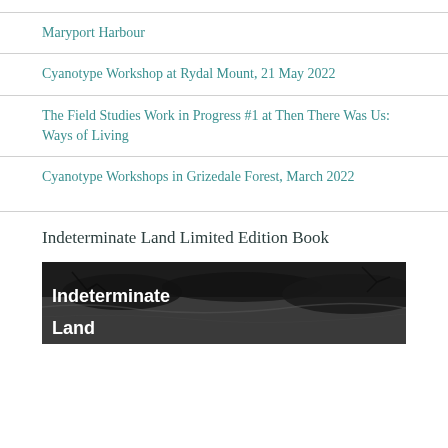Maryport Harbour
Cyanotype Workshop at Rydal Mount, 21 May 2022
The Field Studies Work in Progress #1 at Then There Was Us: Ways of Living
Cyanotype Workshops in Grizedale Forest, March 2022
Indeterminate Land Limited Edition Book
[Figure (photo): Black and white landscape photograph with white bold text overlay reading 'Indeterminate Land']